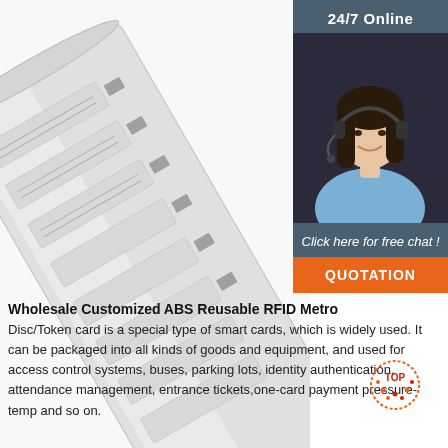[Figure (photo): RFID labels/cards on a roll, metallic silver color, photographed at an angle on white background]
[Figure (photo): 24/7 Online customer service representative - woman with headset smiling, with dark background. Includes '24/7 Online' header, 'Click here for free chat!' text, and orange QUOTATION button]
Wholesale Customized ABS Reusable RFID Metro
Disc/Token card is a special type of smart cards, which is widely used. It can be packaged into all kinds of goods and equipment, and used for access control systems, buses, parking lots, identity authentication, attendance management, entrance tickets,one-card payment pressure-temp and so on.
[Figure (logo): TOP badge/logo in red and orange dotted style]